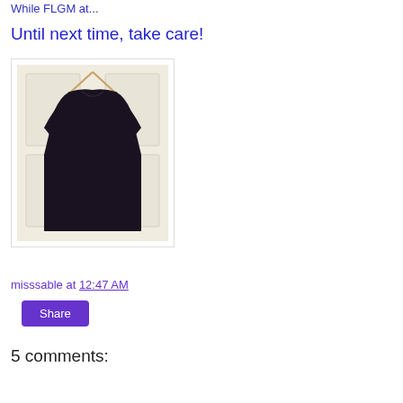Until next time, take care!
[Figure (photo): A black long-sleeve dress hanging on a hanger in front of a white door]
misssable at 12:47 AM
Share
5 comments: